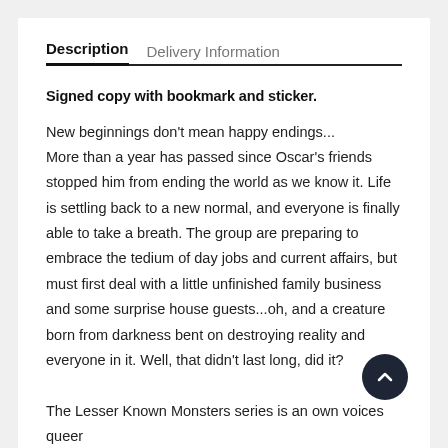Description	Delivery Information
Signed copy with bookmark and sticker.
New beginnings don't mean happy endings...
More than a year has passed since Oscar's friends stopped him from ending the world as we know it. Life is settling back to a new normal, and everyone is finally able to take a breath. The group are preparing to embrace the tedium of day jobs and current affairs, but must first deal with a little unfinished family business and some surprise house guests...oh, and a creature born from darkness bent on destroying reality and everyone in it. Well, that didn't last long, did it?
The Lesser Known Monsters series is an own voices queer